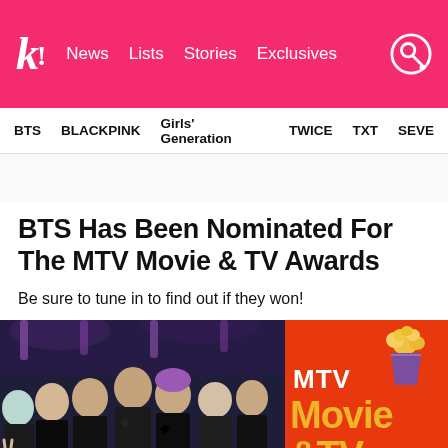k! News Lists Stories Exclusives
BTS BLACKPINK Girls' Generation TWICE TXT SEVE...
BTS Has Been Nominated For The MTV Movie & TV Awards
Be sure to tune in to find out if they won!
[Figure (photo): Left: BTS group photo of 7 members in formal/black attire at an awards event. Right: MTV Movie & TV Awards logo on red/orange background with popcorn trophy icon.]